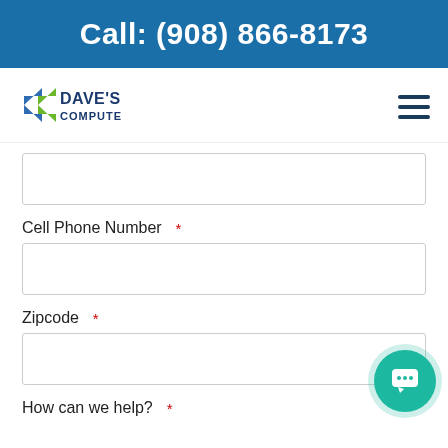Call: (908) 866-8173
[Figure (logo): Dave's Computers logo with stylized blue and green arrow icon]
[Figure (other): Hamburger menu icon (three horizontal lines)]
(empty input field above Cell Phone Number label)
Cell Phone Number *
(empty input field for cell phone number)
Zipcode *
(empty input field for zipcode)
How can we help? *
[Figure (other): Teal chat bubble button in bottom-right corner]